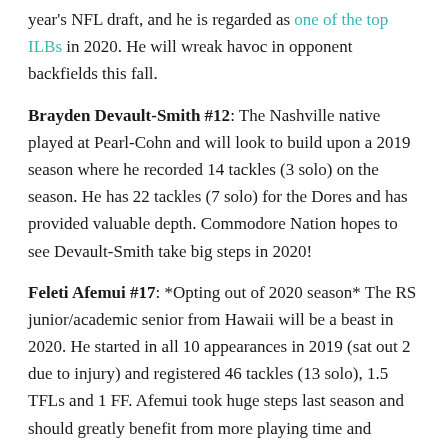year's NFL draft, and he is regarded as one of the top ILBs in 2020. He will wreak havoc in opponent backfields this fall.
Brayden Devault-Smith #12: The Nashville native played at Pearl-Cohn and will look to build upon a 2019 season where he recorded 14 tackles (3 solo) on the season. He has 22 tackles (7 solo) for the Dores and has provided valuable depth. Commodore Nation hopes to see Devault-Smith take big steps in 2020!
Feleti Afemui #17: *Opting out of 2020 season* The RS junior/academic senior from Hawaii will be a beast in 2020. He started in all 10 appearances in 2019 (sat out 2 due to injury) and registered 46 tackles (13 solo), 1.5 TFLs and 1 FF. Afemui took huge steps last season and should greatly benefit from more playing time and experience in 2020. He should be an anchor of the Commodore LBs.